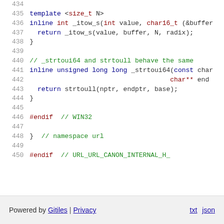[Figure (screenshot): Source code viewer showing C++ code lines 434-450 with syntax highlighting. Line numbers in grey on left, code in blue/red/green colors.]
Powered by Gitiles | Privacy    txt  json